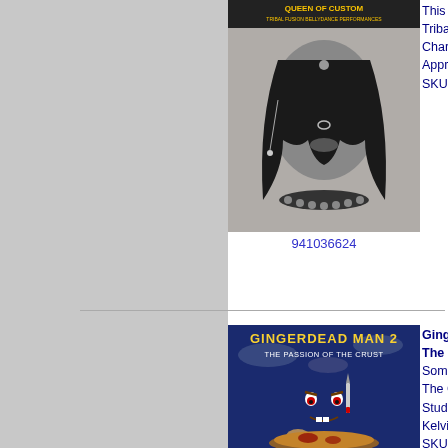[Figure (photo): Black and white DVD cover image of a belly dancer with dramatic makeup, jewelry, and dark hair. Text at top reads tribal fusion bellydance performances.]
941036624
This Program Features Tribal Fusion Bellyda... Characterized By Thei... Approach To Costumi... SKU: 1194001_1
[Figure (photo): DVD cover for Gingerdead Man 2 - The Passion of the Crust, showing an angry gingerbread man cookie monster holding a knife over a pie, with blue sky background.]
Gingerdead Man 2 - The Crust. Something Nasfy Just... The Craft Service Tabl... Studios. As If Itt Were... Kelvin Cheatam Is. . . SKU: 1199494_1